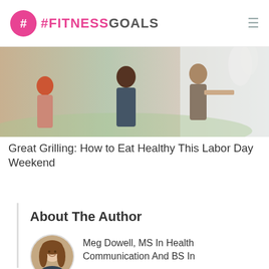#FITNESSGOALS
[Figure (photo): People at an outdoor barbecue/grilling event, including a red-haired child and adults serving food]
Great Grilling: How to Eat Healthy This Labor Day Weekend
About The Author
[Figure (photo): Circular portrait photo of Meg Dowell, a young woman with long brown hair, smiling, with brick wall background]
Meg Dowell, MS In Health Communication And BS In